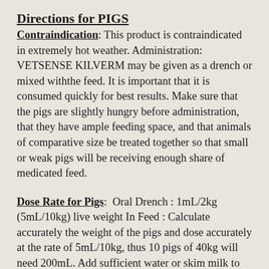Directions for PIGS
Contraindication: This product is contraindicated in extremely hot weather. Administration: VETSENSE KILVERM may be given as a drench or mixed withthe feed. It is important that it is consumed quickly for best results. Make sure that the pigs are slightly hungry before administration, that they have ample feeding space, and that animals of comparative size be treated together so that small or weak pigs will be receiving enough share of medicated feed.
Dose Rate for Pigs: Oral Drench : 1mL/2kg (5mL/10kg) live weight In Feed : Calculate accurately the weight of the pigs and dose accurately at the rate of 5mL/10kg, thus 10 pigs of 40kg will need 200mL. Add sufficient water or skim milk to just dampen the mash, pellets or